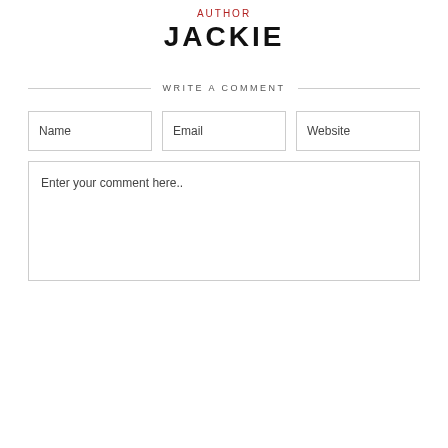AUTHOR
JACKIE
WRITE A COMMENT
Name
Email
Website
Enter your comment here..